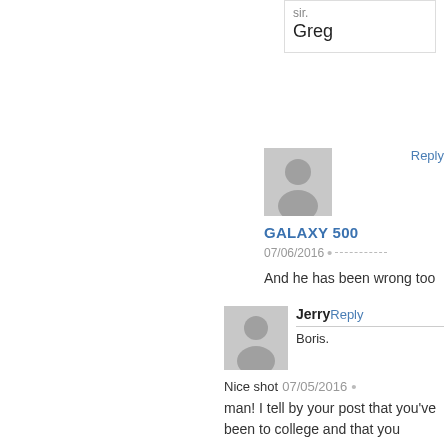sir.
Greg
Reply
[Figure (illustration): Grey generic user avatar silhouette for GALAXY 500]
GALAXY 500
07/06/2016 •
And he has been wrong too
[Figure (illustration): Grey generic user avatar silhouette for Jerry]
Jerry
Reply
Boris.
Nice shot man! I tell by your post that you've been to college and that you
07/05/2016 •